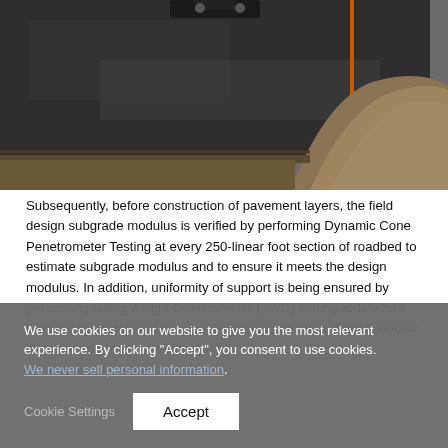[Figure (photo): Aerial/side view of road construction site showing dark pavement surface and a mound of excavated earth or fill material beside the roadbed.]
Subsequently, before construction of pavement layers, the field design subgrade modulus is verified by performing Dynamic Cone Penetrometer Testing at every 250-linear foot section of roadbed to estimate subgrade modulus and to ensure it meets the design modulus. In addition, uniformity of support is being ensured by performing falling weight deflectometer (FWD) testing at 100-foot intervals in each travel lane just before construction of continuously reinforced concrete pavement
We use cookies on our website to give you the most relevant experience. By clicking "Accept", you consent to use cookies. We never sell personal information.